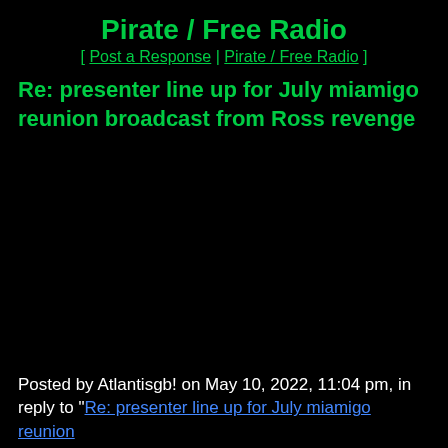Pirate / Free Radio
[ Post a Response | Pirate / Free Radio ]
Re: presenter line up for July miamigo reunion broadcast from Ross revenge
Posted by Atlantisgb! on May 10, 2022, 11:04 pm, in reply to "Re: presenter line up for July miamigo reunion